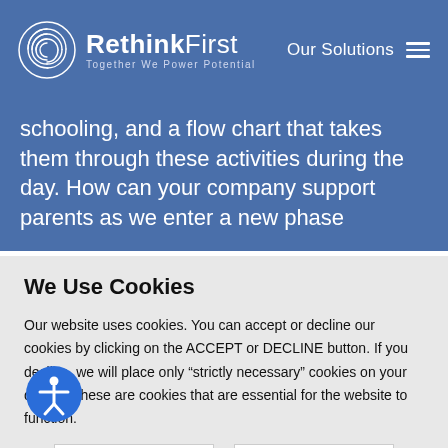RethinkFirst — Together We Power Potential | Our Solutions
schooling, and a flow chart that takes them through these activities during the day. How can your company support parents as we enter a new phase
We Use Cookies
Our website uses cookies. You can accept or decline our cookies by clicking on the ACCEPT or DECLINE button. If you decline, we will place only "strictly necessary" cookies on your device. These are cookies that are essential for the website to function.
ACCEPT | DECLINE